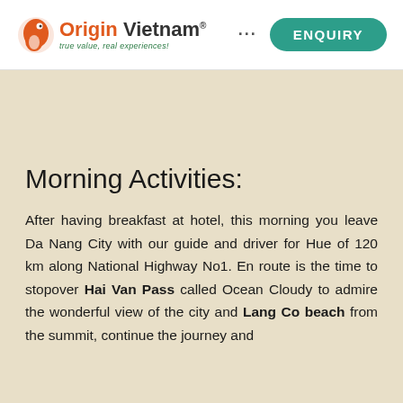[Figure (logo): Origin Vietnam logo with orange bird icon, brand name 'Origin Vietnam' in orange and dark text, tagline 'true value, real experiences!' in green italic, and green rounded 'ENQUIRY' button on the right]
Morning Activities:
After having breakfast at hotel, this morning you leave Da Nang City with our guide and driver for Hue of 120 km along National Highway No1. En route is the time to stopover Hai Van Pass called Ocean Cloudy to admire the wonderful view of the city and Lang Co beach from the summit, continue the journey and ...